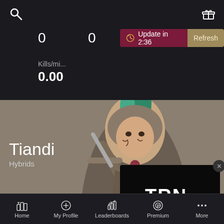[Figure (screenshot): Search icon (magnifying glass) in top left corner]
[Figure (screenshot): Gift/present icon in top right corner]
0
0
Update in 2:36
Refresh
Kills/mi...
0.00
[Figure (photo): For Honor warrior character with green feathered helmet, armored, holding a weapon, grey-brown background]
[Figure (logo): TRN Tracker Network logo on black background overlay popup with X close button]
Tiandi
Hybrids
Home
My Profile
Leaderboards
Premium
More